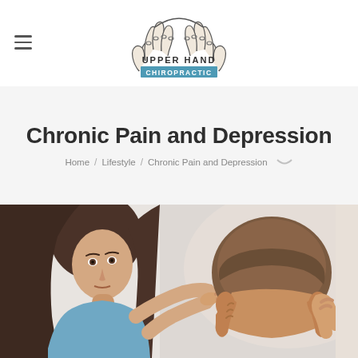[Figure (logo): Upper Hand Chiropractic logo with two hands forming an arch and 'UPPER HAND CHIROPRACTIC' text]
Chronic Pain and Depression
Home / Lifestyle / Chronic Pain and Depression
[Figure (photo): A woman in blue scrubs examining or massaging the neck/head of a man who is seated with his head bowed and hands on his face]